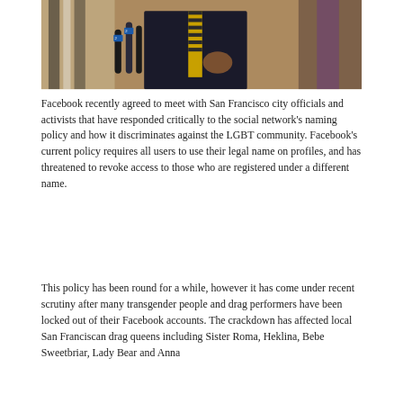[Figure (photo): A person in a suit and tie speaking at a press conference with multiple microphones from various news stations in front of them. Other people visible in the background.]
Facebook recently agreed to meet with San Francisco city officials and activists that have responded critically to the social network's naming policy and how it discriminates against the LGBT community. Facebook's current policy requires all users to use their legal name on profiles, and has threatened to revoke access to those who are registered under a different name.
This policy has been round for a while, however it has come under recent scrutiny after many transgender people and drag performers have been locked out of their Facebook accounts. The crackdown has affected local San Franciscan drag queens including Sister Roma, Heklina, Bebe Sweetbriar, Lady Bear and Anna